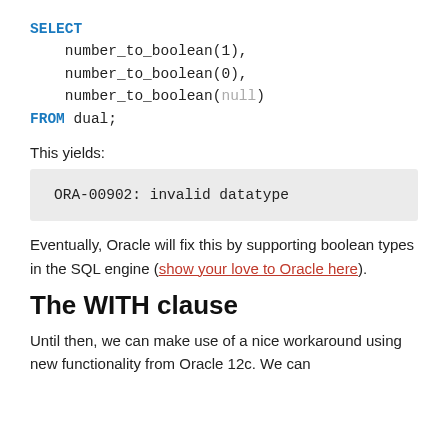SELECT
    number_to_boolean(1),
    number_to_boolean(0),
    number_to_boolean(null)
FROM dual;
This yields:
ORA-00902: invalid datatype
Eventually, Oracle will fix this by supporting boolean types in the SQL engine (show your love to Oracle here).
The WITH clause
Until then, we can make use of a nice workaround using new functionality from Oracle 12c. We can